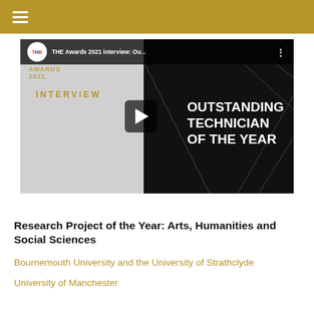≡
[Figure (screenshot): YouTube-style video thumbnail for THE Awards 2021 interview: Outstanding Technician of the Year, showing the THE logo, interview label, play button, and text 'OUTSTANDING TECHNICIAN OF THE YEAR' on a split grey/black background]
Research Project of the Year: Arts, Humanities and Social Sciences
Bournemouth University and the University of Strathclyde
University of Manchester